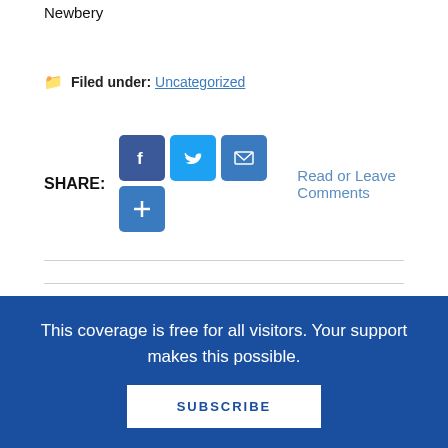Newbery
Filed under: Uncategorized
SHARE: [Facebook] [Twitter] [Email] [+]  Read or Leave Comments
[Figure (illustration): Circular avatar photo of Betsy Bird, showing partial face with hair]
About Betsy Bird
This coverage is free for all visitors. Your support makes this possible.
SUBSCRIBE